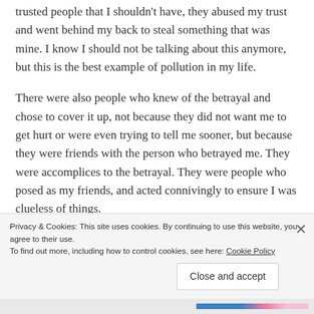trusted people that I shouldn't have, they abused my trust and went behind my back to steal something that was mine. I know I should not be talking about this anymore, but this is the best example of pollution in my life.
There were also people who knew of the betrayal and chose to cover it up, not because they did not want me to get hurt or were even trying to tell me sooner, but because they were friends with the person who betrayed me. They were accomplices to the betrayal. They were people who posed as my friends, and acted connivingly to ensure I was clueless of things.
Privacy & Cookies: This site uses cookies. By continuing to use this website, you agree to their use. To find out more, including how to control cookies, see here: Cookie Policy
Close and accept